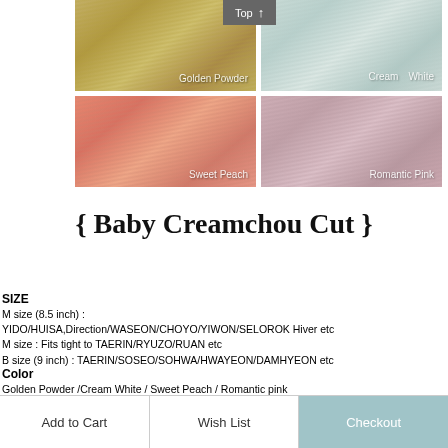[Figure (illustration): Four hair color swatches arranged in a 2x2 grid: Golden Powder (warm golden blonde), Cream White (pale mint/white), Sweet Peach (peachy coral), Romantic Pink (dusty rose pink). A 'Top' button with an upward arrow appears above the top-right swatch.]
{ Baby Creamchou Cut }
SIZE
M size (8.5 inch) :
YIDO/HUISA,Direction/WASEON/CHOYO/YIWON/SELOROK Hiver etc
M size : Fits tight to TAERIN/RYUZO/RUAN etc
B size (9 inch) : TAERIN/SOSEO/SOHWA/HWAYEON/DAMHYEON etc
Color
Golden Powder /Cream White / Sweet Peach / Romantic pink
Add to Cart   Wish List   Checkout